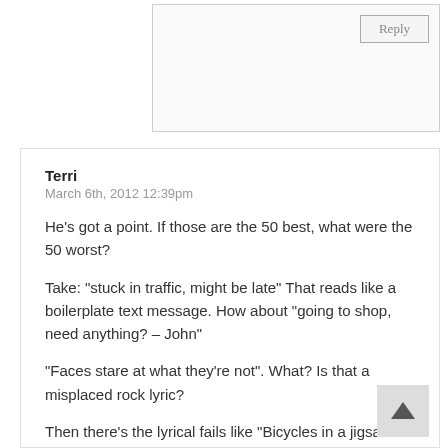Reply
Terri
March 6th, 2012 12:39pm
He’s got a point. If those are the 50 best, what were the 50 worst?
Take: “stuck in traffic, might be late” That reads like a boilerplate text message. How about “going to shop, need anything? – John”
“Faces stare at what they’re not”. What? Is that a misplaced rock lyric?
Then there’s the lyrical fails like “Bicycles in a jigsaw of